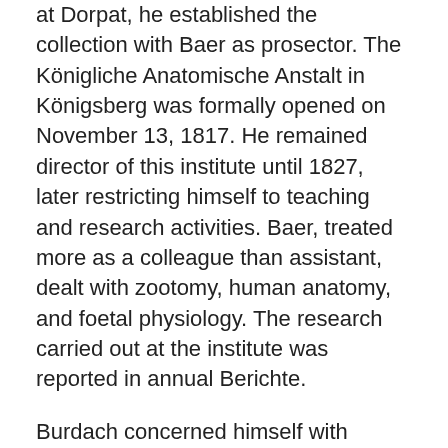at Dorpat, he established the collection with Baer as prosector. The Königliche Anatomische Anstalt in Königsberg was formally opened on November 13, 1817. He remained director of this institute until 1827, later restricting himself to teaching and research activities. Baer, treated more as a colleague than assistant, dealt with zootomy, human anatomy, and foetal physiology. The research carried out at the institute was reported in annual Berichte.
Burdach concerned himself with examinations on the evolutionary history of the brain, particularly examining the 5th and the 7th brain nerve. The topics of his written works included the anatomy of the brain, pathology, dietetics, medication and other general medical themes.
Independently of Johann Wolfgang von Goethe (1749-1832), Burdach coined the term "morphology" in 1800. The word was first used by Goethe in his diary in 1796 in Jena. Burdach also coined the term "biology", in 1800. He suggested that this term be used to denote the study of